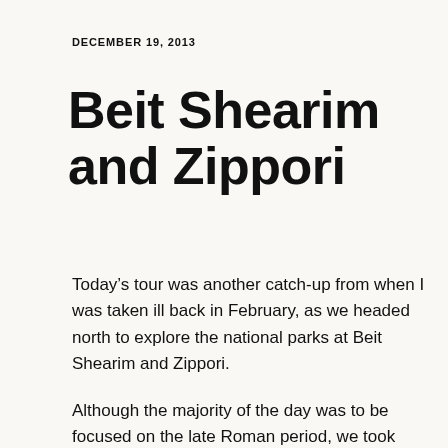DECEMBER 19, 2013
Beit Shearim and Zippori
Today’s tour was another catch-up from when I was taken ill back in February, as we headed north to explore the national parks at Beit Shearim and Zippori.
Although the majority of the day was to be focused on the late Roman period, we took